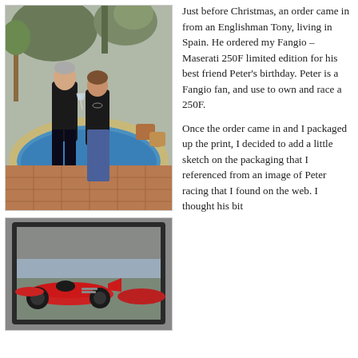[Figure (photo): Two people (a man and a woman) standing in front of an oval swimming pool in a garden setting. The man is holding a champagne glass. Both dressed in black.]
[Figure (photo): A framed print/painting of a red Maserati 250F racing car on a race track, shown from a low angle.]
Just before Christmas, an order came in from an Englishman Tony, living in Spain. He ordered my Fangio – Maserati 250F limited edition for his best friend Peter's birthday. Peter is a Fangio fan, and use to own and race a 250F.
Once the order came in and I packaged up the print, I decided to add a little sketch on the packaging that I referenced from an image of Peter racing that I found on the web. I thought his bit